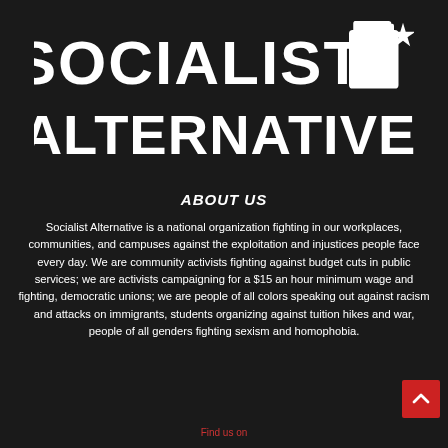[Figure (logo): Socialist Alternative logo: bold white block text reading SOCIALIST ALTERNATIVE on dark background with a raised fist graphic in upper right]
ABOUT US
Socialist Alternative is a national organization fighting in our workplaces, communities, and campuses against the exploitation and injustices people face every day. We are community activists fighting against budget cuts in public services; we are activists campaigning for a $15 an hour minimum wage and fighting, democratic unions; we are people of all colors speaking out against racism and attacks on immigrants, students organizing against tuition hikes and war, people of all genders fighting sexism and homophobia.
Find us on